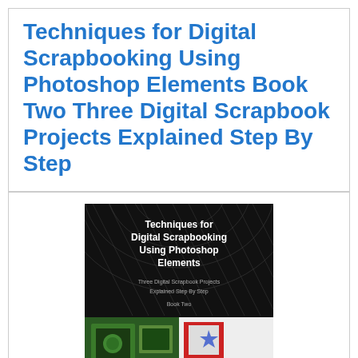Techniques for Digital Scrapbooking Using Photoshop Elements Book Two Three Digital Scrapbook Projects Explained Step By Step
[Figure (photo): Book cover for 'Techniques for Digital Scrapbooking Using Photoshop Elements' showing the title in white text on a dark background with diagonal lines, subtitle 'Three Digital Scrapbook Projects Explained Step By Step', 'Book Two', and sample scrapbook project images at the bottom including green and patriotic/July 4th themed pages.]